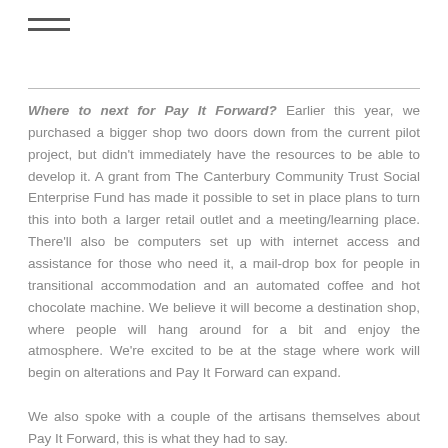≡
Where to next for Pay It Forward? Earlier this year, we purchased a bigger shop two doors down from the current pilot project, but didn't immediately have the resources to be able to develop it. A grant from The Canterbury Community Trust Social Enterprise Fund has made it possible to set in place plans to turn this into both a larger retail outlet and a meeting/learning place. There'll also be computers set up with internet access and assistance for those who need it, a mail-drop box for people in transitional accommodation and an automated coffee and hot chocolate machine. We believe it will become a destination shop, where people will hang around for a bit and enjoy the atmosphere. We're excited to be at the stage where work will begin on alterations and Pay It Forward can expand.
We also spoke with a couple of the artisans themselves about Pay It Forward, this is what they had to say.